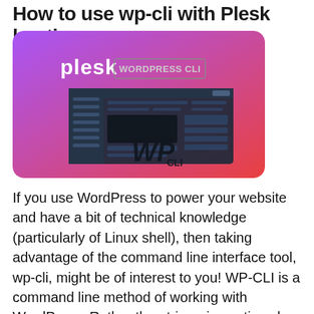How to use wp-cli with Plesk hosting
[Figure (screenshot): Plesk control panel interface with WordPress CLI branding. Purple-to-pink gradient background with 'plesk' and 'WORDPRESS CLI' text, and a WP-CLI logo, overlaid on a screenshot of the Plesk admin dashboard.]
If you use WordPress to power your website and have a bit of technical knowledge (particularly of Linux shell), then taking advantage of the command line interface tool, wp-cli, might be of interest to you! WP-CLI is a command line method of working with WordPress. Rather than triggering actions by logging in to the WordPress...